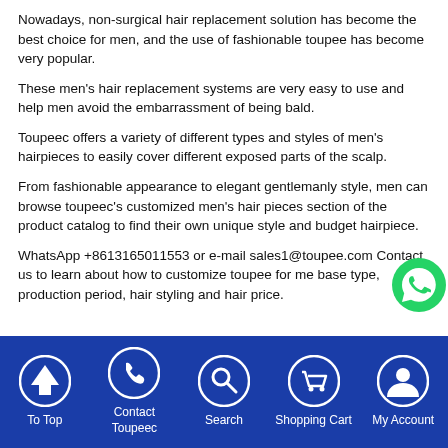Nowadays, non-surgical hair replacement solution has become the best choice for men, and the use of fashionable toupee has become very popular.
These men's hair replacement systems are very easy to use and help men avoid the embarrassment of being bald.
Toupeec offers a variety of different types and styles of men's hairpieces to easily cover different exposed parts of the scalp.
From fashionable appearance to elegant gentlemanly style, men can browse toupeec's customized men's hair pieces section of the product catalog to find their own unique style and budget hairpiece.
WhatsApp +8613165011553 or e-mail sales1@toupee.com Contact us to learn about how to customize toupee for men base type, production period, hair styling and hair price.
To Top | Contact Toupeec | Search | Shopping Cart | My Account